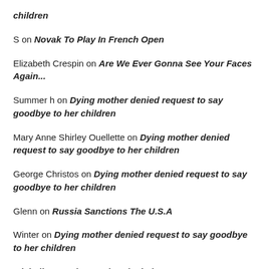children
S on Novak To Play In French Open
Elizabeth Crespin on Are We Ever Gonna See Your Faces Again...
Summer h on Dying mother denied request to say goodbye to her children
Mary Anne Shirley Ouellette on Dying mother denied request to say goodbye to her children
George Christos on Dying mother denied request to say goodbye to her children
Glenn on Russia Sanctions The U.S.A
Winter on Dying mother denied request to say goodbye to her children
Michelle on Dying mother denied request to say goodbye to her children
Judy on Lady's world number two golfer Nelly Korda, 23, suffers